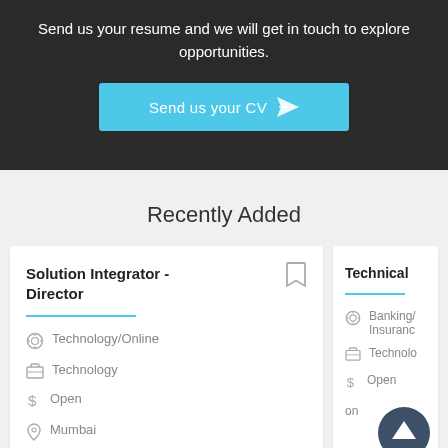Send us your resume and we will get in touch to explore opportunities.
[Figure (other): Cyan button labeled 'Send us your CV' with paper plane icon]
Recently Added
Solution Integrator - Director
Technology/Online
Technology
Open
Mumbai
Technical
Banking/Insurance
Technolo
Open
on